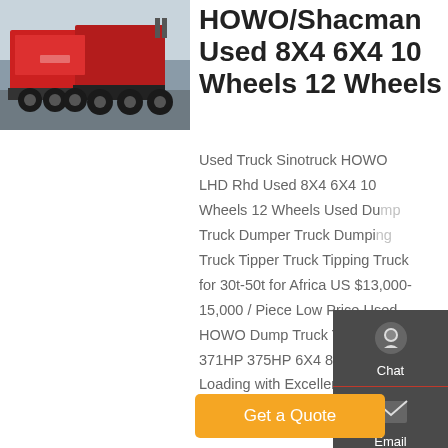[Figure (photo): Rear view of red HOWO/Shacman trucks parked in a lot]
HOWO/Shacman Used 8X4 6X4 10 Wheels 12 Wheels
Used Truck Sinotruck HOWO LHD Rhd Used 8X4 6X4 10 Wheels 12 Wheels Used Dump Truck Dumper Truck Dumping Truck Tipper Truck Tipping Truck for 30t-50t for Africa US $13,000-15,000 / Piece Low Price Used HOWO Dump Truck Tipper Truck 371HP 375HP 6X4 8X4 40t-60t Loading with Excellent Condition and Best Price for Africa.
Chat
Email
Contact
Top
Get a Quote